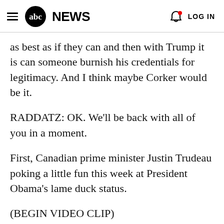abc NEWS  LOG IN
as best as if they can and then with Trump it is can someone burnish his credentials for legitimacy. And I think maybe Corker would be it.
RADDATZ: OK. We'll be back with all of you in a moment.
First, Canadian prime minister Justin Trudeau poking a little fun this week at President Obama's lame duck status.
(BEGIN VIDEO CLIP)
JUSTIN TRUDEAU, CANADIAN PRIME